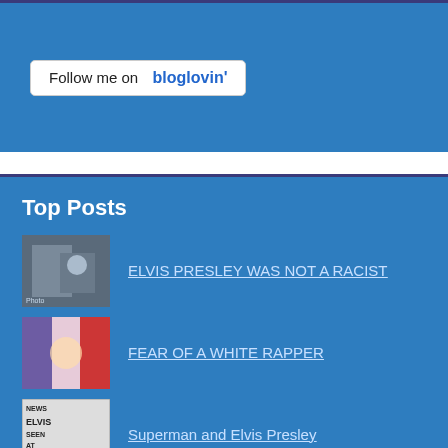[Figure (screenshot): Bloglovin follow button with white background, text 'Follow me on bloglovin' on blue background]
Top Posts
ELVIS PRESLEY WAS NOT A RACIST
FEAR OF A WHITE RAPPER
Superman and Elvis Presley
THE SENSATIONAL SHE-HULK (Marvel Graphic Novel #18) by John Byrne